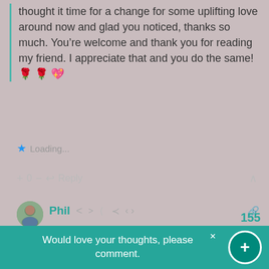thought it time for a change for some uplifting love around now and glad you noticed, thanks so much. You're welcome and thank you for reading my friend. I appreciate that and you do the same! 🌹🌹💖
★ Loading...
+ 0 — ↩ Reply ∧
[Figure (photo): Avatar photo of Phil, a user with a profile picture showing a person outdoors]
Phil
Reply to Cindy Georgakas  🕐 2 months ago
TY & Big 🤗🤗
★ Loading...
155
Would love your thoughts, please comment.